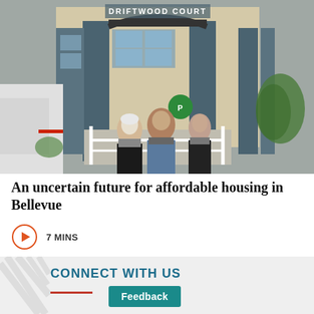[Figure (photo): Three people wearing face masks standing in front of a residential building entrance with a sign reading 'DRIFTWOOD COURT'. A white van is parked on the left. The building has dark grey/blue columns and beige siding.]
An uncertain future for affordable housing in Bellevue
7 MINS
CONNECT WITH US
Feedback